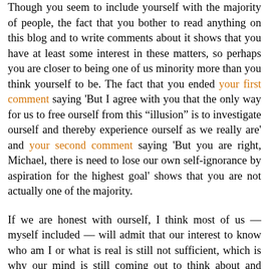Though you seem to include yourself with the majority of people, the fact that you bother to read anything on this blog and to write comments about it shows that you have at least some interest in these matters, so perhaps you are closer to being one of us minority more than you think yourself to be. The fact that you ended your first comment saying 'But I agree with you that the only way for us to free ourself from this "illusion" is to investigate ourself and thereby experience ourself as we really are' and your second comment saying 'But you are right, Michael, there is need to lose our own self-ignorance by aspiration for the highest goal' shows that you are not actually one of the majority.
If we are honest with ourself, I think most of us — myself included — will admit that our interest to know who am I or what is real is still not sufficient, which is why our mind is still coming out to think about and discuss these issues rather than quietly subsiding and merging within, but we are like a moth flying around a candle flame. We cannot leave the fatal attraction of Bhagavan's teachings, so we fly round and round them, but we are not yet ready to take the final fatal plunge into them. However, sooner or later we will